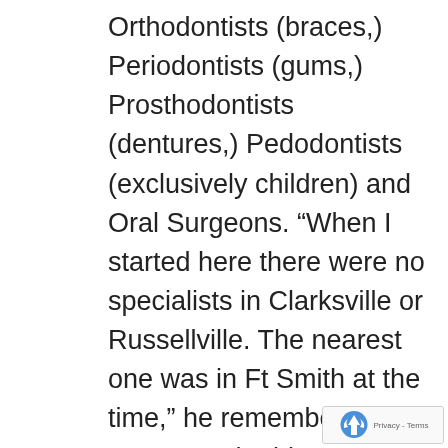Orthodontists (braces,) Periodontists (gums,) Prosthodontists (dentures,) Pedodontists (exclusively children) and Oral Surgeons. “When I started here there were no specialists in Clarksville or Russellville. The nearest one was in Ft Smith at the time,” he remembered. However, the biggest change in dentistry has not been so much the equipment, materials and techniques, but Dental insurance and regulations by OSHA and CDC (Center for Disease Control,) said Smith. Today, more than 50% of Smith’s patients are covered by insurance or Medicaid and his computer holds information on 285 different dental insurance